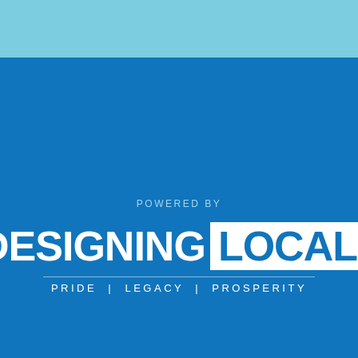[Figure (logo): Designing Local logo with tagline 'Pride | Legacy | Prosperity' on blue background with light blue top bar. Text above logo reads 'POWERED BY'.]